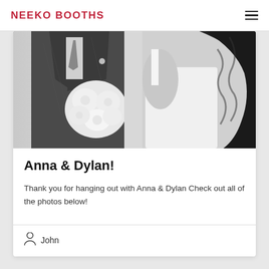NEEKO BOOTHS
[Figure (photo): Black and white wedding photo showing a man in a dark plaid suit holding a white flower bouquet standing next to a woman in a white dress with long dark curly hair. Their faces are not visible in the crop.]
Anna & Dylan!
Thank you for hanging out with Anna & Dylan Check out all of the photos below!
John